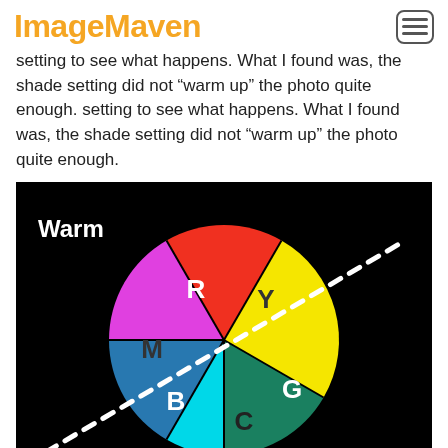ImageMaven
setting to see what happens. What I found was, the shade setting did not “warm up” the photo quite enough.
[Figure (illustration): Color wheel diagram on black background showing six color segments: R (red), Y (yellow), G (green), C (cyan), B (blue), M (magenta). A white dotted diagonal line divides the wheel into Warm (upper-left) and Cool (lower-right) halves. Labels 'Warm' appear in upper-left and 'Cool' in lower-right.]